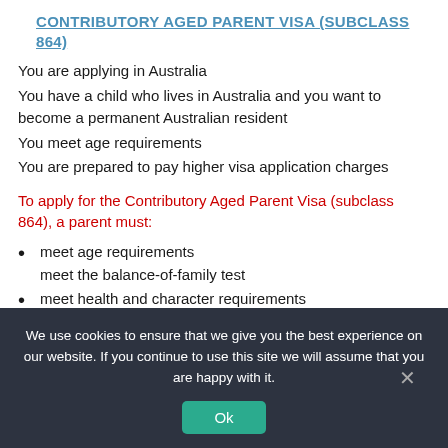CONTRIBUTORY AGED PARENT VISA (SUBCLASS 864)
You are applying in Australia
You have a child who lives in Australia and you want to become a permanent Australian resident
You meet age requirements
You are prepared to pay higher visa application charges
To apply for the Contributory Aged Parent Visa (subclass 864), a parent must:
meet age requirements
meet the balance-of-family test
meet health and character requirements
have an assurance of support
have a sponsor.
We use cookies to ensure that we give you the best experience on our website. If you continue to use this site we will assume that you are happy with it.